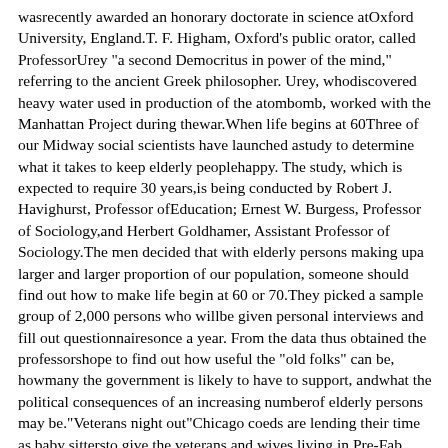wasrecently awarded an honorary doctorate in science atOxford University, England.T. F. Higham, Oxford's public orator, called ProfessorUrey "a second Democritus in power of the mind," referring to the ancient Greek philosopher. Urey, whodiscovered heavy water used in production of the atombomb, worked with the Manhattan Project during thewar.When life begins at 60Three of our Midway social scientists have launched astudy to determine what it takes to keep elderly peoplehappy. The study, which is expected to require 30 years,is being conducted by Robert J. Havighurst, Professor ofEducation; Ernest W. Burgess, Professor of Sociology,and Herbert Goldhamer, Assistant Professor of Sociology.The men decided that with elderly persons making upa larger and larger proportion of our population, someone should find out how to make life begin at 60 or 70.They picked a sample group of 2,000 persons who willbe given personal interviews and fill out questionnairesonce a year. From the data thus obtained the professorshope to find out how useful the "old folks" can be, howmany the government is likely to have to support, andwhat the political consequences of an increasing numberof elderly persons may be."Veterans night out"Chicago coeds are lending their time as baby sittersto give the veterans and wives living in Pre-Fab Citynights out. The girls, under sponsorship of the campusstudent Red Cross unit, are asked to give one night amonth as free baby sitters.Veterans' wives who desire baby sitters for the children sign up at one of the community laundries. Theselists containing name